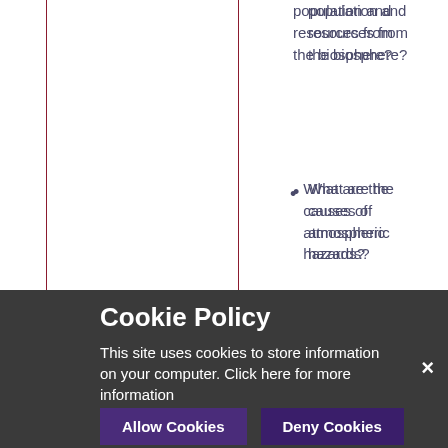population and resources from the biosphere?
What are the causes of atmospheric hazards?
What are the [impacts of ...]
[Figure (screenshot): Cookie Policy overlay banner with dark background, title 'Cookie Policy', description text about cookies, Allow Cookies and Deny Cookies buttons, and close X button]